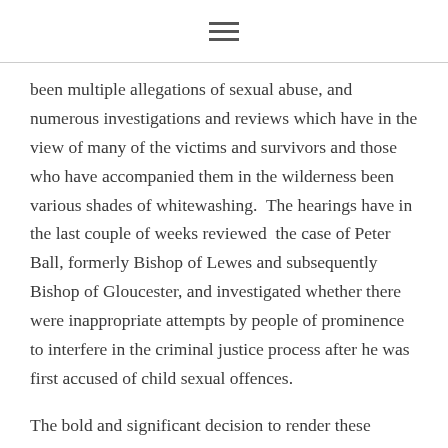≡
been multiple allegations of sexual abuse, and numerous investigations and reviews which have in the view of many of the victims and survivors and those who have accompanied them in the wilderness been various shades of whitewashing.  The hearings have in the last couple of weeks reviewed  the case of Peter Ball, formerly Bishop of Lewes and subsequently Bishop of Gloucester, and investigated whether there were inappropriate attempts by people of prominence to interfere in the criminal justice process after he was first accused of child sexual offences.
The bold and significant decision to render these hearings open to anyone who had wi-fi access and a